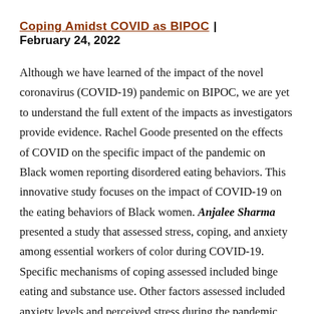Coping Amidst COVID as BIPOC | February 24, 2022
Although we have learned of the impact of the novel coronavirus (COVID-19) pandemic on BIPOC, we are yet to understand the full extent of the impacts as investigators provide evidence. Rachel Goode presented on the effects of COVID on the specific impact of the pandemic on Black women reporting disordered eating behaviors. This innovative study focuses on the impact of COVID-19 on the eating behaviors of Black women. Anjalee Sharma presented a study that assessed stress, coping, and anxiety among essential workers of color during COVID-19. Specific mechanisms of coping assessed included binge eating and substance use. Other factors assessed included anxiety levels and perceived stress during the pandemic.